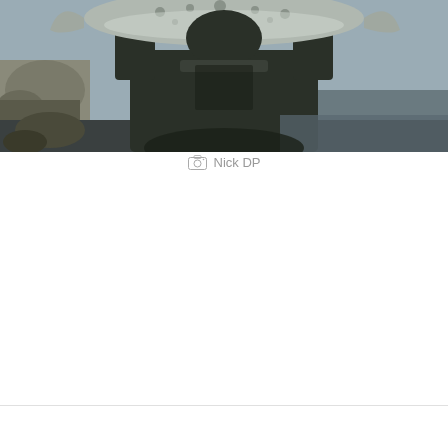[Figure (photo): A person holding up a large spotted/speckled fish (trout or similar) with both hands, outdoors near rocks and water. The person's face is hidden behind the fish. They are wearing a dark jacket.]
Nick DP